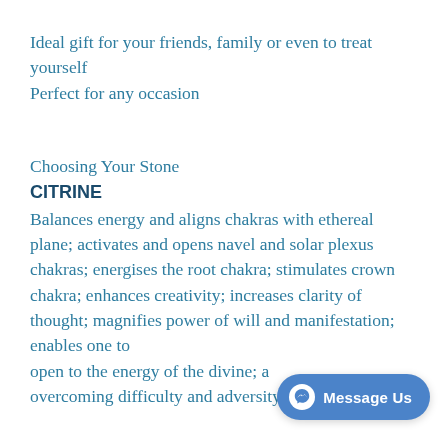Ideal gift for your friends, family or even to treat yourself
Perfect for any occasion
Choosing Your Stone
CITRINE
Balances energy and aligns chakras with ethereal plane; activates and opens navel and solar plexus chakras; energises the root chakra; stimulates crown chakra; enhances creativity; increases clarity of thought; magnifies power of will and manifestation; enables one to open to the energy of the divine; a overcoming difficulty and adversity; enhances